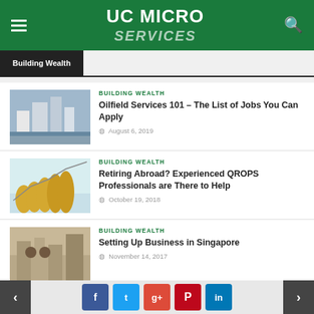UC MICRO
Building Wealth
BUILDING WEALTH
Oilfield Services 101 – The List of Jobs You Can Apply
August 6, 2019
BUILDING WEALTH
Retiring Abroad? Experienced QROPS Professionals are There to Help
October 19, 2018
BUILDING WEALTH
Setting Up Business in Singapore
November 14, 2017
BUILDING WEALTH